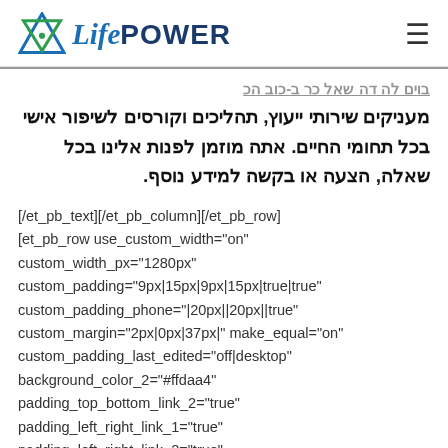LifePower logo and hamburger menu
מעניקים שירותי ייעוץ, תהליכים וקורסים לשיפור אישי בכל תחומי החיים. אתה מוזמן לפנות אלינו בכל שאלה, הצעה או בקשה למידע נוסף.
[/et_pb_text][/et_pb_column][/et_pb_row]
[et_pb_row use_custom_width="on"
custom_width_px="1280px"
custom_padding="9px|15px|9px|15px|true|true"
custom_padding_phone="|20px||20px||true"
custom_margin="2px|0px|37px|" make_equal="on"
custom_padding_last_edited="off|desktop"
background_color_2="#ffdaa4"
padding_top_bottom_link_2="true"
padding_left_right_link_1="true"
padding_left_right_link_2="true"